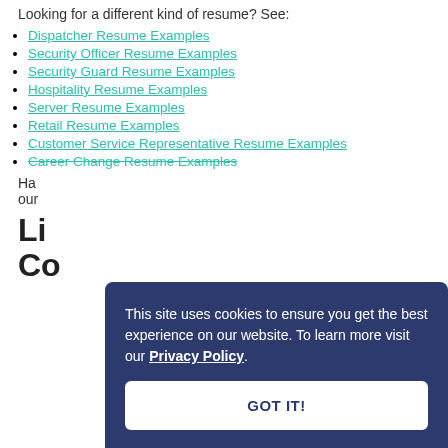Looking for a different kind of resume? See:
Dispatcher Resume Examples
Security Officer Resume Examples
Security Guard Resume Examples
Hospitality Resume Examples
Server Resume Examples
Retail Resume Examples
Customer Service Representative Resume Examples
Career Change Resume Examples
Ha... our...
Li... Co...py...
This site uses cookies to ensure you get the best experience on our website. To learn more visit our Privacy Policy.
GOT IT!